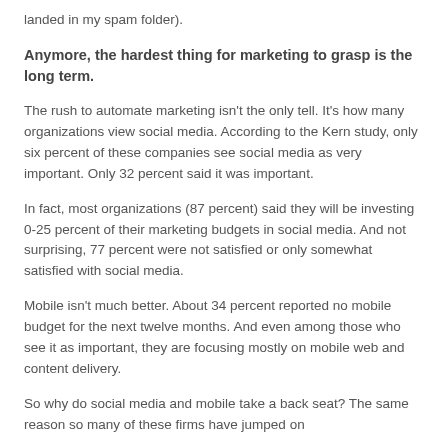landed in my spam folder).
Anymore, the hardest thing for marketing to grasp is the long term.
The rush to automate marketing isn't the only tell. It's how many organizations view social media. According to the Kern study, only six percent of these companies see social media as very important. Only 32 percent said it was important.
In fact, most organizations (87 percent) said they will be investing 0-25 percent of their marketing budgets in social media. And not surprising, 77 percent were not satisfied or only somewhat satisfied with social media.
Mobile isn't much better. About 34 percent reported no mobile budget for the next twelve months. And even among those who see it as important, they are focusing mostly on mobile web and content delivery.
So why do social media and mobile take a back seat? The same reason so many of these firms have jumped on